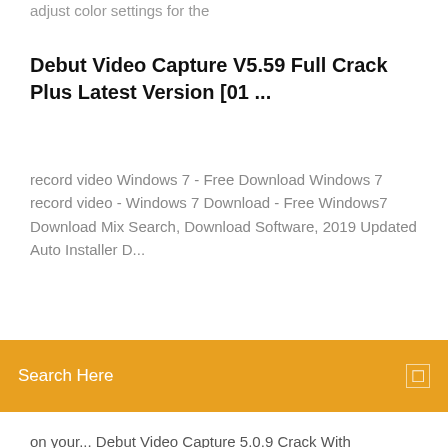adjust color settings for the
Debut Video Capture V5.59 Full Crack Plus Latest Version [01 ...
record video Windows 7 - Free Download Windows 7 record video - Windows 7 Download - Free Windows7 Download Mix Search, Download Software, 2019 Updated Auto Installer D...
Search Here
on your... Debut Video Capture 5.0.9 Crack With Activation Code Free... Debut Video Capture with license key will give you another tremendous facility to capture a snapshot of the screen while recording any tutorial. by this facility, you can make a step by step installation and configuration tutorial with...
Buy Debut. Official NCH Software Store. Always the Best Price. Qty, Select the Software you Need - Subscription Plan, Per Month. Debut Video Capture Software Pro Edition Quarterly Plan